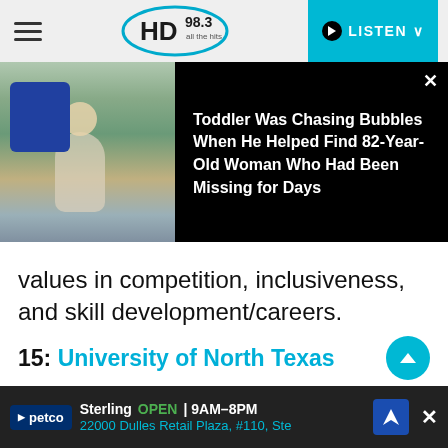HD 98.3 – LISTEN
[Figure (photo): News card overlay showing a toddler photo on left, black background on right with headline text: Toddler Was Chasing Bubbles When He Helped Find 82-Year-Old Woman Who Had Been Missing for Days]
values in competition, inclusiveness, and skill development/careers.
15: University of North Texas
It is home to 3 esports programs in Overwatch, League of Legends, and Rocket League. During the Spring 2021 Season of Rocket
[Figure (screenshot): Petco ad banner: Sterling OPEN | 9AM–8PM, 22000 Dulles Retail Plaza, #110, Ste]